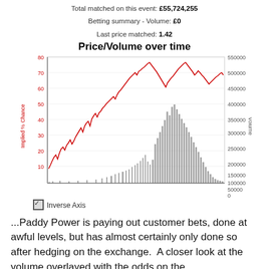Total matched on this event: £55,724,255
Betting summary - Volume: £0
Last price matched: 1.42
Price/Volume over time
[Figure (continuous-plot): A dual-axis chart showing Implied % Chance (red line, left y-axis, 10-80) and Volume (grey bars, right y-axis, 0-550000) over time. The red line starts low around 10-15, rises to ~50 mid-chart with volatility, then climbs to ~80 near the end before settling around 70. Grey volume bars are sparse early, with large spikes in the later portion reaching up to ~250000-280000.]
Inverse Axis
...Paddy Power is paying out customer bets, done at awful levels, but has almost certainly only done so after hedging on the exchange.  A closer look at the volume overlayed with the odds on the